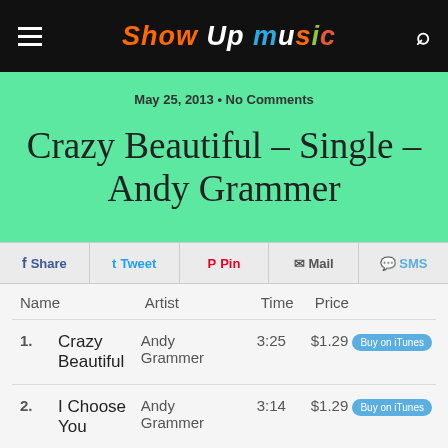Show Up Music
May 25, 2013 • No Comments
Crazy Beautiful – Single – Andy Grammer
Share  Tweet  Pin  Mail  SMS
| Name | Artist | Time | Price |
| --- | --- | --- | --- |
| Crazy Beautiful | Andy Grammer | 3:25 | $1.29 |
| I Choose You | Andy Grammer | 3:14 | $1.29 |